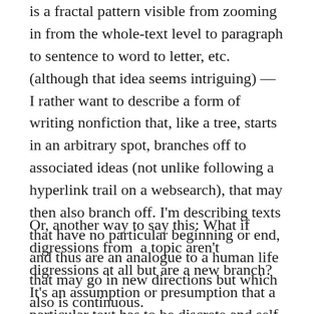is a fractal pattern visible from zooming in from the whole-text level to paragraph to sentence to word to letter, etc. (although that idea seems intriguing) — I rather want to describe a form of writing nonfiction that, like a tree, starts in an arbitrary spot, branches off to associated ideas (not unlike following a hyperlink trail on a websearch), that may then also branch off. I'm describing texts that have no particular beginning or end, and thus are an analogue to a human life that may go in new directions but which also is continuous.
Or, another way to say this: What if digressions from  a topic aren't digressions at all but are a new branch? It's an assumption or presumption that a particular text has to be discrete and self-contained. An article about nesting habits of egrets shouldn't also discuss the land-grant